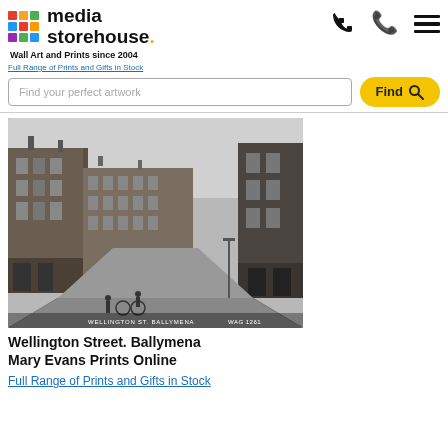[Figure (logo): Media Storehouse logo with colorful grid icon, text 'media storehouse.' and tagline 'Wall Art and Prints since 2004']
Full Range of Prints and Gifts in Stock
Find your perfect artwork
[Figure (photo): Black and white historical photograph of Wellington Street, Ballymena. Shows a wide street with Victorian brick buildings on both sides, people and a bicycle visible in the foreground. Caption text reads 'WELLINGTON ST. BALLYMENA' and 'WAG 1261']
Wellington Street. Ballymena
Mary Evans Prints Online
Full Range of Prints and Gifts in Stock